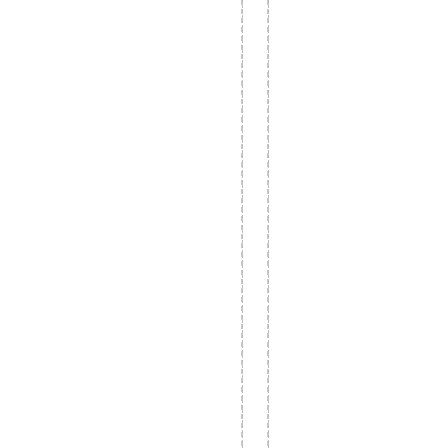typesettingAdded honorifics
Rest